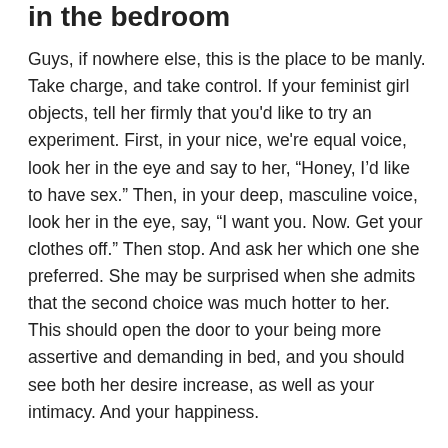in the bedroom
Guys, if nowhere else, this is the place to be manly. Take charge, and take control. If your feminist girl objects, tell her firmly that you'd like to try an experiment. First, in your nice, we're equal voice, look her in the eye and say to her, “Honey, I’d like to have sex.” Then, in your deep, masculine voice, look her in the eye, say, “I want you. Now. Get your clothes off.” Then stop. And ask her which one she preferred. She may be surprised when she admits that the second choice was much hotter to her. This should open the door to your being more assertive and demanding in bed, and you should see both her desire increase, as well as your intimacy. And your happiness.